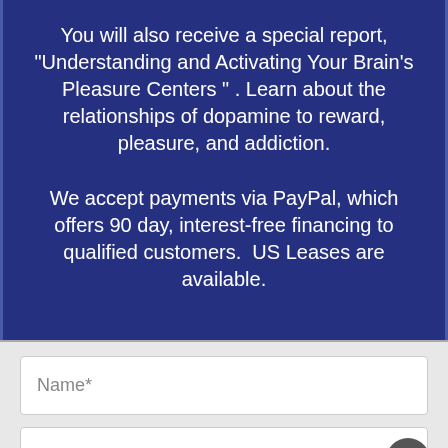You will also receive a special report, “Understanding and Activating Your Brain’s Pleasure Centers ” . Learn about the relationships of dopamine to reward, pleasure, and addiction.
We accept payments via PayPal, which offers 90 day, interest-free financing to qualified customers.  US Leases are available.
Name*
Email*